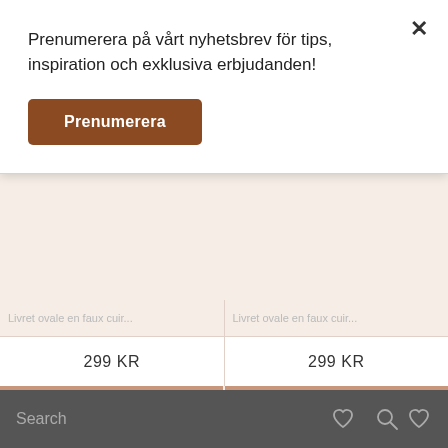Prenumerera på vårt nyhetsbrev för tips, inspiration och exklusiva erbjudanden!
Prenumerera
299 KR
299 KR
BUY
BUY
[Figure (illustration): Placeholder product image (grey circle with mountain/photo icon)]
[Figure (illustration): Placeholder product image with -70 discount badge (grey circle with mountain/photo icon)]
Search